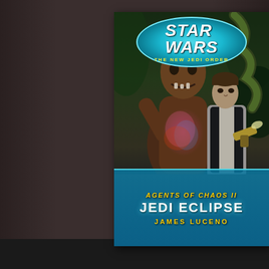[Figure (photo): Photograph of a Star Wars: The New Jedi Order book cover titled 'Agents of Chaos II: Jedi Eclipse' by James Luceno, placed on a dark wooden surface. The cover features a menacing alien creature and Han Solo holding a blaster, with jungle/space background. The Star Wars logo appears in a teal oval at the top, and the title and author name appear on a blue banner at the bottom.]